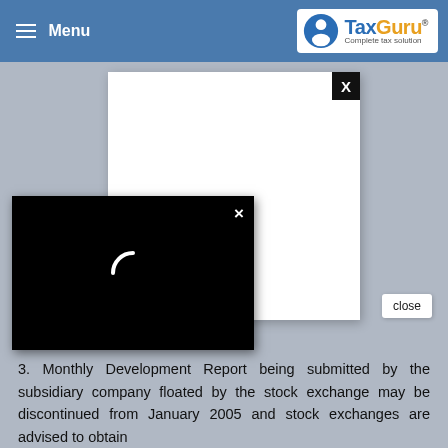TaxGuru - Complete tax solution
26 Crore in a month or less than Rs. 200 Crore in a Financial Year) are required to submit Monthly Development report on a quarterly basis.
[Figure (screenshot): White modal dialog with X close button]
[Figure (screenshot): Black video loading modal with X close button and spinning loader icon]
3. Monthly Development Report being submitted by the subsidiary company floated by the stock exchange may be discontinued from January 2005 and stock exchanges are advised to obtain